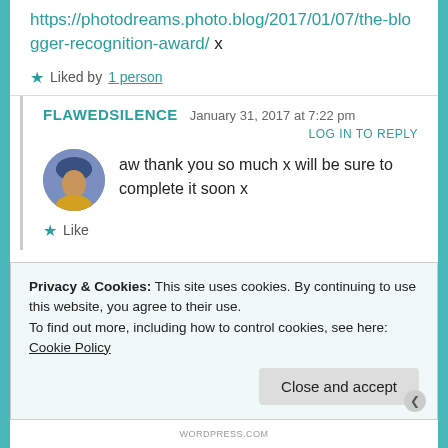https://photodreams.photo.blog/2017/01/07/the-blogger-recognition-award/ x
Liked by 1 person
FLAWEDSILENCE   January 31, 2017 at 7:22 pm
LOG IN TO REPLY
[Figure (photo): Circular avatar photo of a person wearing a blue hat and yellow jacket]
aw thank you so much x will be sure to complete it soon x
Like
Privacy & Cookies: This site uses cookies. By continuing to use this website, you agree to their use. To find out more, including how to control cookies, see here: Cookie Policy
Close and accept